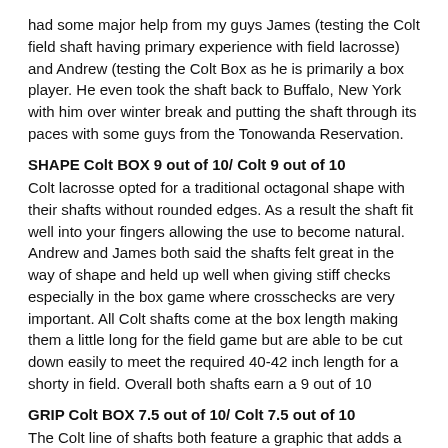had some major help from my guys James (testing the Colt field shaft having primary experience with field lacrosse) and Andrew (testing the Colt Box as he is primarily a box player. He even took the shaft back to Buffalo, New York with him over winter break and putting the shaft through its paces with some guys from the Tonowanda Reservation.
SHAPE Colt BOX 9 out of 10/ Colt 9 out of 10
Colt lacrosse opted for a traditional octagonal shape with their shafts without rounded edges. As a result the shaft fit well into your fingers allowing the use to become natural. Andrew and James both said the shafts felt great in the way of shape and held up well when giving stiff checks especially in the box game where crosschecks are very important. All Colt shafts come at the box length making them a little long for the field game but are able to be cut down easily to meet the required 40-42 inch length for a shorty in field. Overall both shafts earn a 9 out of 10
GRIP Colt BOX 7.5 out of 10/ Colt 7.5 out of 10
The Colt line of shafts both feature a graphic that adds a lot of grip when playing. For those who enjoy a grippy shaft this is a great feature but from our experiences it is not exactly long lasting as checks cause the graphic to peel and fall away and for those who